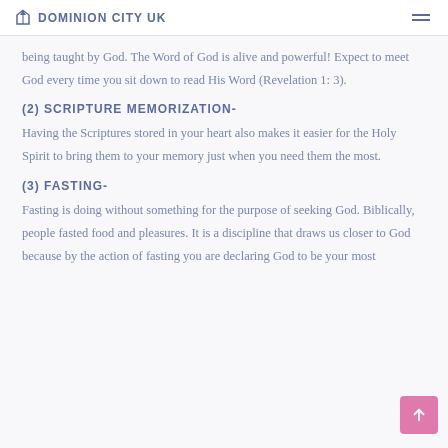DOMINION CITY UK
being taught by God. The Word of God is alive and powerful! Expect to meet God every time you sit down to read His Word (Revelation 1: 3).
(2) SCRIPTURE MEMORIZATION-
Having the Scriptures stored in your heart also makes it easier for the Holy Spirit to bring them to your memory just when you need them the most.
(3) FASTING-
Fasting is doing without something for the purpose of seeking God. Biblically, people fasted food and pleasures. It is a discipline that draws us closer to God because by the action of fasting you are declaring God to be your most